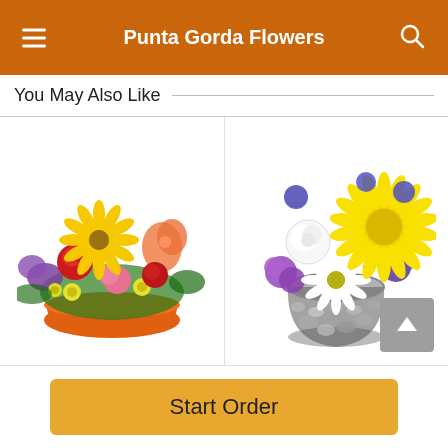Punta Gorda Flowers
You May Also Like
[Figure (photo): Colorful floral arrangement with yellow gerbera daisies, red roses, pink carnations, purple statice, and green foliage in an orange bowl-shaped container.]
Vibrant Garden
[Figure (photo): Bright floral arrangement with yellow chrysanthemums, white roses, white daisies, and purple asters in a round glass vase filled with river rocks.]
Sunny Day Flair
Start Order